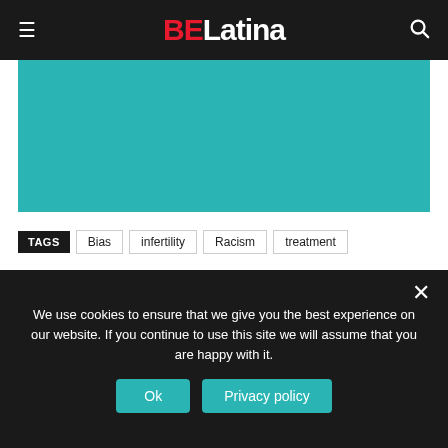BELatina
[Figure (illustration): Teal/turquoise colored rectangular image placeholder area]
TAGS: Bias | infertility | Racism | treatment
[Figure (infographic): Social share buttons row: share icon box with arrow, then Facebook, Twitter, Pinterest, WhatsApp colored icon buttons]
We use cookies to ensure that we give you the best experience on our website. If you continue to use this site we will assume that you are happy with it.
Ok  Privacy policy